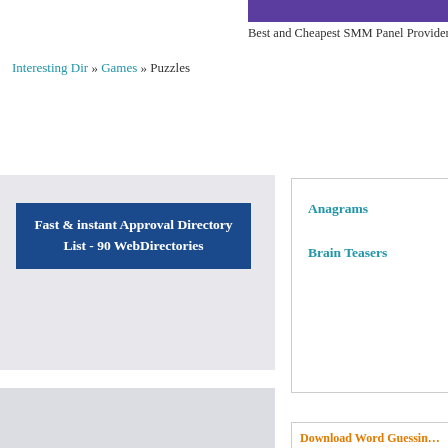[Figure (other): Purple/violet header banner bar in top right corner]
Best and Cheapest SMM Panel Providers for TikTok, I...
Interesting Dir » Games » Puzzles
[Figure (other): Left advertisement box with dark blue background and white bold text: Fast & instant Approval Directory List - 90 WebDirectories]
Anagrams
Brain Teasers
[Figure (other): Second left advertisement gray area]
Download Word Guessing Game –
http://www.guezzit.com/
Elite Infoworld, a leading web development company simple rules. A picture is displayed as a answer and user also have option to ava...
call girls in hyderabad
http://www.priyavipservice.com/
http://www.priyavipservice.com/ .. Link